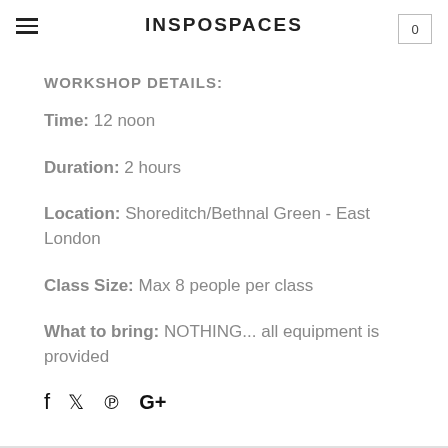INSPOSPACES
WORKSHOP DETAILS:
Time: 12 noon
Duration: 2 hours
Location: Shoreditch/Bethnal Green - East London
Class Size: Max 8 people per class
What to bring: NOTHING... all equipment is provided